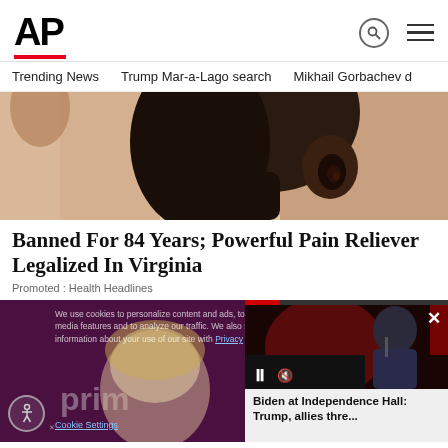AP
Trending News   Trump Mar-a-Lago search   Mikhail Gorbachev d
[Figure (photo): Close-up photo of a person's face and ear in profile against a light background]
Banned For 84 Years; Powerful Pain Reliever Legalized In Virginia
Promoted : Health Headlines
[Figure (screenshot): Screenshot showing a cookie consent overlay on a purple background with Amazon Prime logo, accessibility button, cookie settings link, privacy link, and a video popup showing Biden at Independence Hall with caption: Biden at Independence Hall: Trump, allies thre...]